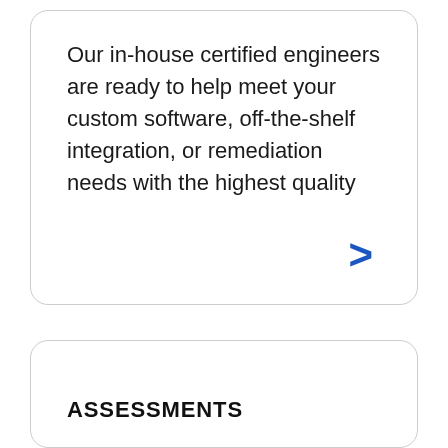Our in-house certified engineers are ready to help meet your custom software, off-the-shelf integration, or remediation needs with the highest quality
[Figure (other): Blue right-pointing chevron arrow used as a call-to-action link indicator]
ASSESSMENTS
Using a range of tools and expertise, our team works with you to target